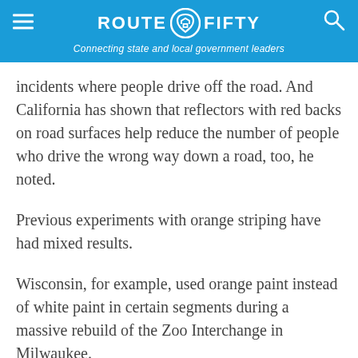ROUTE FIFTY — Connecting state and local government leaders
incidents where people drive off the road. And California has shown that reflectors with red backs on road surfaces help reduce the number of people who drive the wrong way down a road, too, he noted.
Previous experiments with orange striping have had mixed results.
Wisconsin, for example, used orange paint instead of white paint in certain segments during a massive rebuild of the Zoo Interchange in Milwaukee.